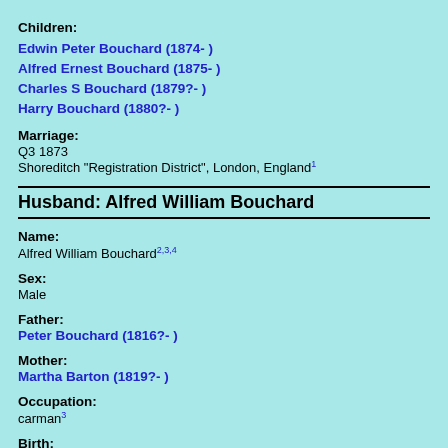Children:
Edwin Peter Bouchard (1874- )
Alfred Ernest Bouchard (1875- )
Charles S Bouchard (1879?- )
Harry Bouchard (1880?- )
Marriage:
Q3 1873
Shoreditch "Registration District", London, England1
Husband: Alfred William Bouchard
Name:
Alfred William Bouchard2,3,4
Sex:
Male
Father:
Peter Bouchard (1816?- )
Mother:
Martha Barton (1819?- )
Occupation:
carman3
Birth:
Q1 1852